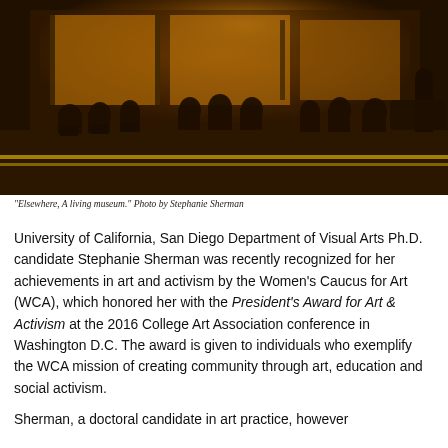[Figure (photo): Nighttime outdoor scene showing people seated at chairs and tables along a street, with a warmly lit storefront in the background. Dark, amber-toned photograph.]
“Elsewhere, A living museum.” Photo by Stephanie Sherman
University of California, San Diego Department of Visual Arts Ph.D. candidate Stephanie Sherman was recently recognized for her achievements in art and activism by the Women’s Caucus for Art (WCA), which honored her with the President’s Award for Art & Activism at the 2016 College Art Association conference in Washington D.C. The award is given to individuals who exemplify the WCA mission of creating community through art, education and social activism.
Sherman, a doctoral candidate in art practice, however